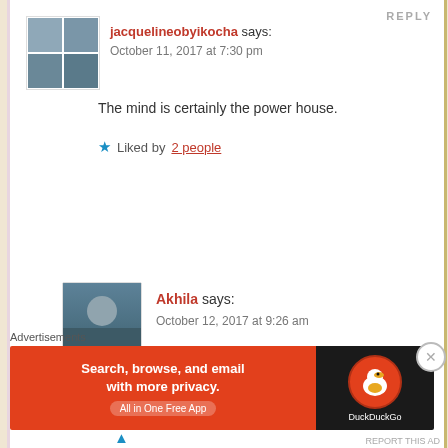REPLY
jacquelineobyikocha says:
October 11, 2017 at 7:30 pm
The mind is certainly the power house.
Liked by 2 people
Akhila says:
October 12, 2017 at 9:26 am
What do you exercise for your mind
...
Advertisements
[Figure (screenshot): DuckDuckGo advertisement banner: orange background with text 'Search, browse, and email with more privacy.' and 'All in One Free App', with DuckDuckGo logo on dark background on the right.]